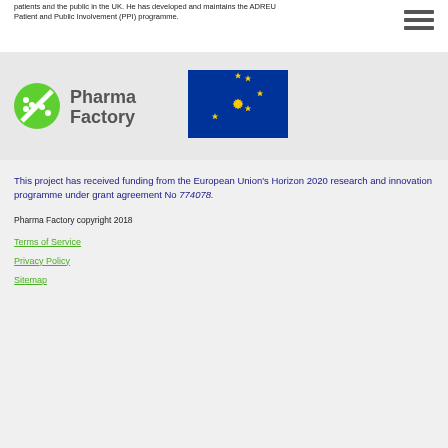patients and the public in the UK. He has developed and maintains the ADREU Patient and Public Involvement (PPI) programme.
[Figure (logo): Pharma Factory logo with green circle icon and grey text]
[Figure (logo): European Union flag with blue background and yellow stars]
This project has received funding from the European Union's Horizon 2020 research and innovation programme under grant agreement No 774078.
Pharma Factory copyright 2018
Terms of Service
Privacy Policy
Sitemap